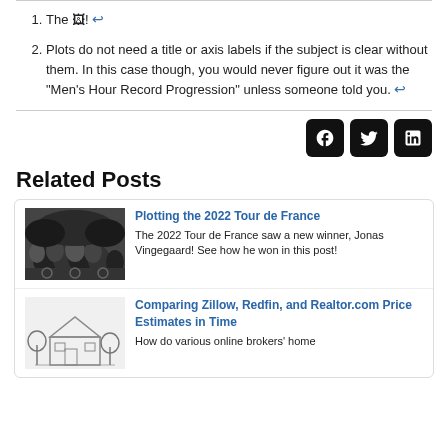1. The ↩
2. Plots do not need a title or axis labels if the subject is clear without them. In this case though, you would never figure out it was the "Men's Hour Record Progression" unless someone told you. ↩
[Figure (infographic): Social sharing icons for Facebook, Twitter, and LinkedIn]
Related Posts
Plotting the 2022 Tour de France — The 2022 Tour de France saw a new winner, Jonas Vingegaard! See how he won in this post!
Comparing Zillow, Redfin, and Realtor.com Price Estimates in Time — How do various online brokers' home...